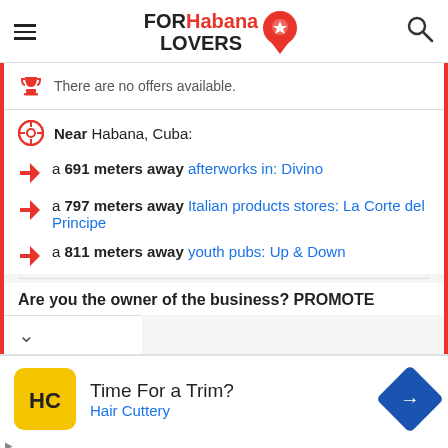FOR Habana LOVERS
There are no offers available.
Near Habana, Cuba:
a 691 meters away afterworks in: Divino
a 797 meters away Italian products stores: La Corte del Principe
a 811 meters away youth pubs: Up & Down
Are you the owner of the business? PROMOTE
Time For a Trim? Hair Cuttery